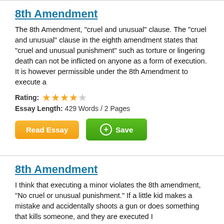8th Amendment
The 8th Amendment, "cruel and unusual" clause. The "cruel and unusual" clause in the eighth amendment states that "cruel and unusual punishment" such as torture or lingering death can not be inflicted on anyone as a form of execution. It is however permissible under the 8th Amendment to execute a
Rating: 4 out of 5 stars
Essay Length: 429 Words / 2 Pages
Read Essay | Save
8th Amendment
I think that executing a minor violates the 8th amendment, "No cruel or unusual punishment." If a little kid makes a mistake and accidentally shoots a gun or does something that kills someone, and they are executed I